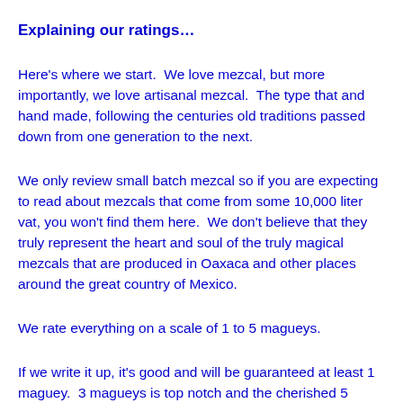Explaining our ratings…
Here's where we start.  We love mezcal, but more importantly, we love artisanal mezcal.  The type that and hand made, following the centuries old traditions passed down from one generation to the next.
We only review small batch mezcal so if you are expecting to read about mezcals that come from some 10,000 liter vat, you won't find them here.  We don't believe that they truly represent the heart and soul of the truly magical mezcals that are produced in Oaxaca and other places around the great country of Mexico.
We rate everything on a scale of 1 to 5 magueys.
If we write it up, it's good and will be guaranteed at least 1 maguey.  3 magueys is top notch and the cherished 5 maguey rating is reserved for the really special stuff.  If you are fortunate to have a mezcal that gets 5 magueys, consider yourself fortunate, because it is a top of the